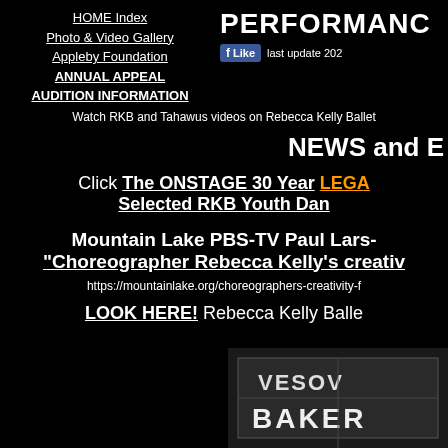HOME Index
Photo & Video Gallery
Appleby Foundation
ANNUAL APPEAL
AUDITION INFORMATION
PERFORMANC
last update 202
Watch RKB and Tahawus videos on Rebecca Kelly Ballet
NEWS and E
Click The ONSTAGE 30 Year LEGA Selected RKB Youth Dan
Mountain Lake PBS-TV Paul Lars- "Choreographer Rebecca Kelly's creativ
https://mountainlake.org/choreographers-creativity-f
LOOK HERE! Rebecca Kelly Balle
[Figure (photo): Black and white photo showing a bakery sign with text VESOVI and BAKER visible]